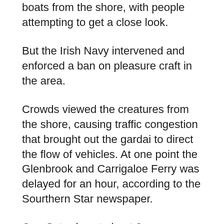boats from the shore, with people attempting to get a close look.
But the Irish Navy intervened and enforced a ban on pleasure craft in the area.
Crowds viewed the creatures from the shore, causing traffic congestion that brought out the gardai to direct the flow of vehicles. At one point the Glenbrook and Carrigaloe Ferry was delayed for an hour, according to the Sourthern Star newspaper.
One Saturday at about 2 a.m., as revelers were leaving Cork city bars at last call, the killer whales had ventured right into the heart of the c
BELFAST — Loyalist gunmen opened fire on two